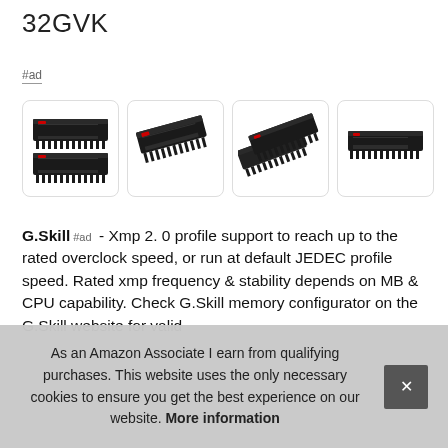32GVK
#ad
[Figure (photo): Four product images of G.Skill Trident Z DDR4 RAM sticks shown from different angles]
G.Skill #ad - Xmp 2. 0 profile support to reach up to the rated overclock speed, or run at default JEDEC profile speed. Rated xmp frequency & stability depends on MB & CPU capability. Check G.Skill memory configurator on the G.Skill website for valid...
As an Amazon Associate I earn from qualifying purchases. This website uses the only necessary cookies to ensure you get the best experience on our website. More information